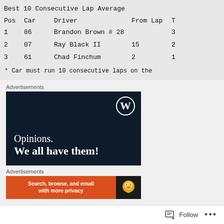| Pos | Car | Driver | From Lap | T |
| --- | --- | --- | --- | --- |
| 1 | 86 | Brandon Brown | # 28 | 3 |
| 2 | 07 | Ray Black II | 15 | 2 |
| 3 | 61 | Chad Finchum | 2 | 1 |
Advertisements
[Figure (screenshot): WordPress advertisement banner with dark navy background, WordPress logo (W in circle) in top right, text 'Opinions. We all have them!' in white serif font]
Advertisements
[Figure (screenshot): DuckDuckGo advertisement banner with orange left section reading 'Search, browse, and email with more privacy' and dark right section with duck logo]